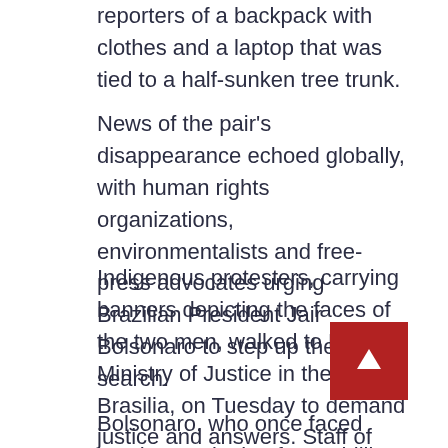reporters of a backpack with clothes and a laptop that was tied to a half-sunken tree trunk.
News of the pair's disappearance echoed globally, with human rights organizations, environmentalists and free-press advocates urging Brazilian President Jair Bolsonaro to step up the search.
Indigenous protesters, carrying banners depicting the faces of the two men, walked to Brazil's Ministry of Justice in the capital, Brasilia, on Tuesday to demand justice and answers. Staff of Funai went on a one-day strike to demand greater security for indigenous experts working in the field.
Bolsonaro, who once faced tough questioning from Phillips at a news conference over weakening